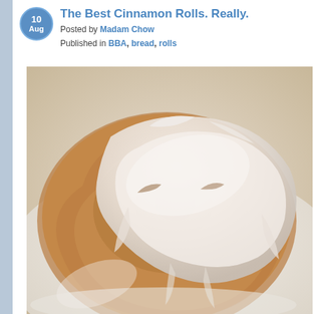The Best Cinnamon Rolls. Really.
Posted by Madam Chow
Published in BBA, bread, rolls
[Figure (photo): Close-up photo of a glazed cinnamon roll with white cream cheese frosting drizzled over it, on a white plate.]